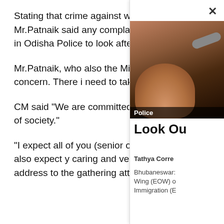Stating that crime against women and children should always be a focus area for the police, Mr.Patnaik said any complaints in this regard should be attended as per law immediately with Special wing in Odisha Police to look after offences against women and children should provide leadership in this field, he said.
Mr.Patnaik, who also the Minister Home, also pointed out that road safety continues to be an area of concern. There is need to take up preventive and innovative steps to reduce in accidents, CM said.
CM said "We are committed to ensure safety and security of people especially the vulnerable sections of society."
"I expect all of you (senior officers) to lead the police by example and provide quality leadership. I also expect you to be caring and very sensitive to the victims and their families," Mr.Patnaik said his address to the gathering attended by Chief Secretary SC
[Figure (photo): Close-up photo of a hand with a bracelet, labeled Police at the bottom]
Look Ou
Tathya Corre
Bhubaneswar: Wing (EOW) of Immigration (E